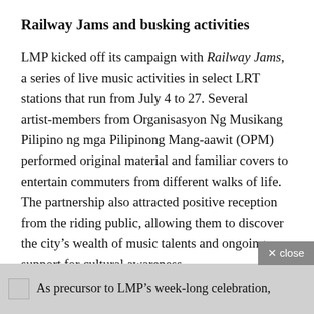Railway Jams and busking activities
LMP kicked off its campaign with Railway Jams, a series of live music activities in select LRT stations that run from July 4 to 27. Several artist-members from Organisasyon Ng Musikang Pilipino ng mga Pilipinong Mang-aawit (OPM) performed original material and familiar covers to entertain commuters from different walks of life. The partnership also attracted positive reception from the riding public, allowing them to discover the city's wealth of music talents and ongoing support for cultural awareness.
As precursor to LMP's week-long celebration,